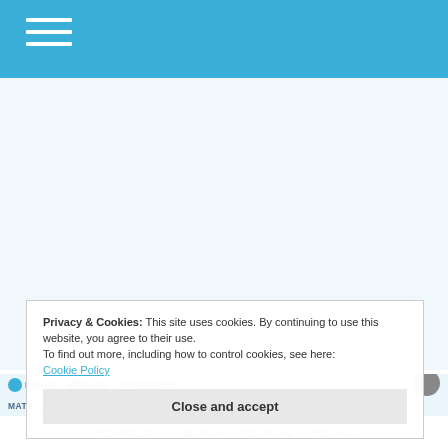Navigation menu header bar
Privacy & Cookies: This site uses cookies. By continuing to use this website, you agree to their use.
To find out more, including how to control cookies, see here:
Cookie Policy
Close and accept
FRANK  MATH  COMPUTERS
MATT LANGIONE  PHYSICS  QUANTUM  SCIENCE
TECHNOLOGY  TED TALK  TED TALKS  TEDTALK